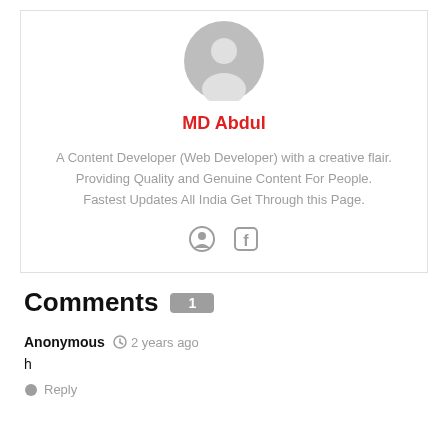[Figure (illustration): Gray default user avatar circle with person silhouette]
MD Abdul
A Content Developer (Web Developer) with a creative flair. Providing Quality and Genuine Content For People. Fastest Updates All India Get Through this Page.
[Figure (illustration): Social media icons: globe/location icon and Facebook icon]
Comments 1
Anonymous  2 years ago
h
Reply